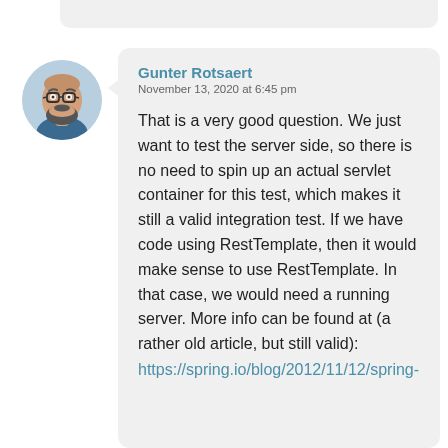[Figure (illustration): Cartoon avatar of a bald man with glasses and a beard, shown in a circular crop]
Gunter Rotsaert
November 13, 2020 at 6:45 pm
That is a very good question. We just want to test the server side, so there is no need to spin up an actual servlet container for this test, which makes it still a valid integration test. If we have code using RestTemplate, then it would make sense to use RestTemplate. In that case, we would need a running server. More info can be found at (a rather old article, but still valid):
https://spring.io/blog/2012/11/12/spring-